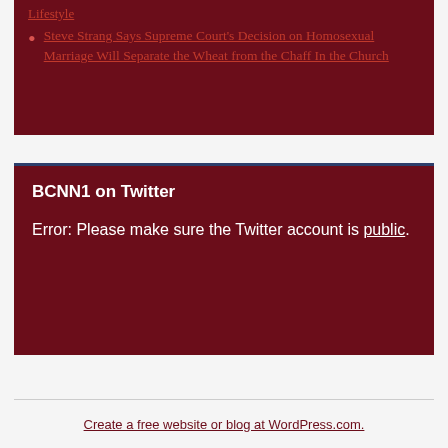Steve Strang Says Supreme Court's Decision on Homosexual Marriage Will Separate the Wheat from the Chaff In the Church
BCNN1 on Twitter
Error: Please make sure the Twitter account is public.
Create a free website or blog at WordPress.com.